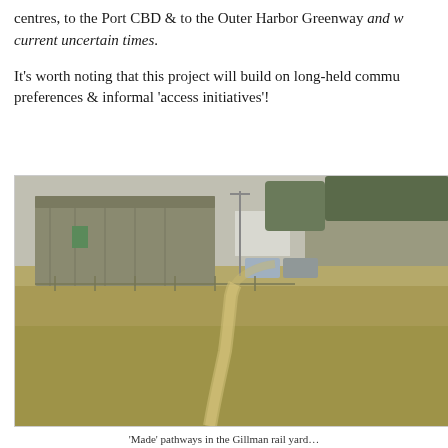centres, to the Port CBD & to the Outer Harbor Greenway and w… current uncertain times.
It's worth noting that this project will build on long-held commu… preferences & informal 'access initiatives'!
[Figure (photo): A dirt informal pathway cutting through dry grassy land near industrial warehouse buildings, with cars parked beside them and trees in the background. This appears to be an informal 'made' pathway in the Gillman rail yards area.]
'Made' pathways in the Gillman rail yard…